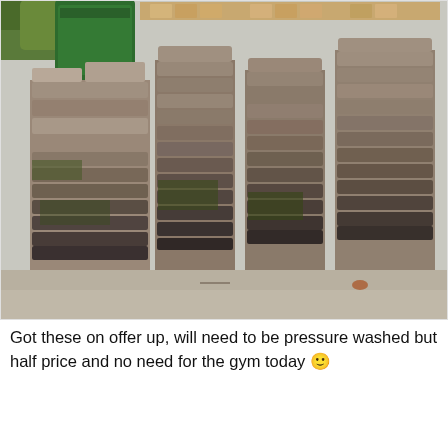[Figure (photo): A large collection of old, weathered paving bricks/pavers stacked in multiple tall piles on a driveway or patio area. The bricks are octagonal/rectangular shaped, mossy and dirty, arranged in uneven columns. A green bin is visible in the background, along with some greenery.]
Got these on offer up, will need to be pressure washed but half price and no need for the gym today 🙂